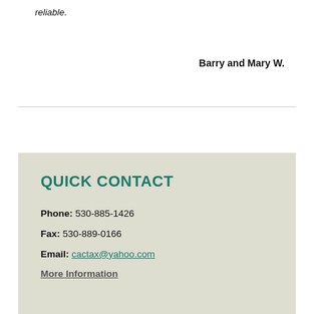reliable.
Barry and Mary W.
QUICK CONTACT
Phone: 530-885-1426
Fax: 530-889-0166
Email: cactax@yahoo.com
More Information